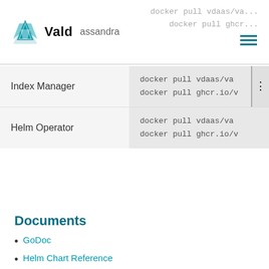Vald — docker pull vdaas/va... docker pull ghcr...
|  |  |
| --- | --- |
| Index Manager | docker pull vdaas/va...
docker pull ghcr.io/v... |
| Helm Operator | docker pull vdaas/va...
docker pull ghcr.io/v... |
Documents
GoDoc
Helm Chart Reference
Helm Operator Chart Reference
Changes
🔄 Rename PriorityClass names to contain namespace (#901)
🔄 Fix bug on updating status of VR & VHOR